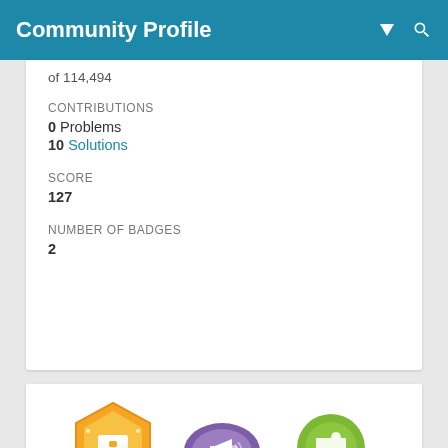Community Profile
of 114,494
CONTRIBUTIONS
0 Problems
10 Solutions
SCORE
127
NUMBER OF BADGES
2
[Figure (illustration): Three badges: a yellow/orange hexagonal Treasure Hunt badge, a purple oval megaphone badge, and a green circular puzzle piece badge with a blue ribbon showing '1']
View badges